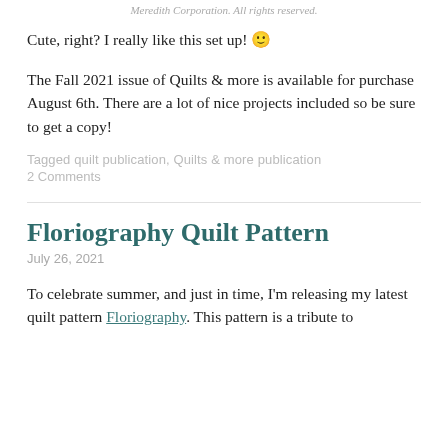Meredith Corporation. All rights reserved.
Cute, right? I really like this set up! 🙂
The Fall 2021 issue of Quilts & more is available for purchase August 6th. There are a lot of nice projects included so be sure to get a copy!
Tagged quilt publication, Quilts & more publication
2 Comments
Floriography Quilt Pattern
July 26, 2021
To celebrate summer, and just in time, I'm releasing my latest quilt pattern Floriography. This pattern is a tribute to